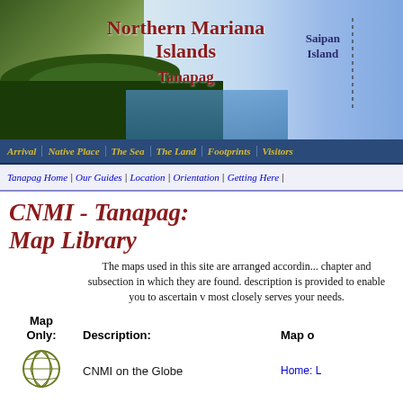[Figure (photo): Northern Mariana Islands header banner with coastal landscape photo, title text 'Northern Mariana Islands Tanapag' and 'Saipan Island' label]
Arrival | Native Place | The Sea | The Land | Footprints | Visitors
Tanapag Home | Our Guides | Location | Orientation | Getting Here |
CNMI - Tanapag:
Map Library
The maps used in this site are arranged according to the chapter and subsection in which they are found. A brief description is provided to enable you to ascertain which map most closely serves your needs.
| Map Only: | Description: | Map o... |
| --- | --- | --- |
| [globe icon] | CNMI on the Globe | Home: L... |
| [globe icon] | CNMI within Micronesia | Home: L... |
| [globe icon] |  |  |